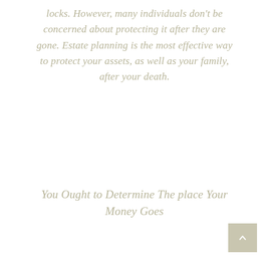locks. However, many individuals don't be concerned about protecting it after they are gone. Estate planning is the most effective way to protect your assets, as well as your family, after your death.
You Ought to Determine The place Your Money Goes